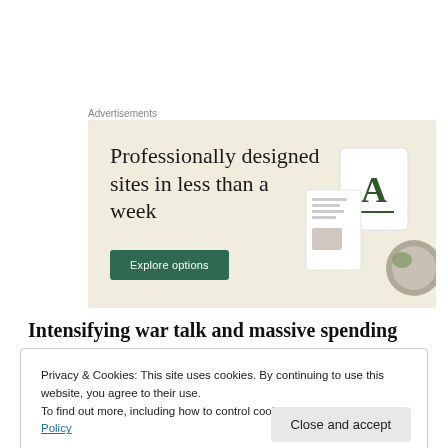Advertisements
[Figure (screenshot): Advertisement banner with beige background showing text 'Professionally designed sites in less than a week' with a green 'Explore options' button and device mockup images on the right]
Intensifying war talk and massive spending on war
Privacy & Cookies: This site uses cookies. By continuing to use this website, you agree to their use.
To find out more, including how to control cookies, see here: Cookie Policy
Close and accept